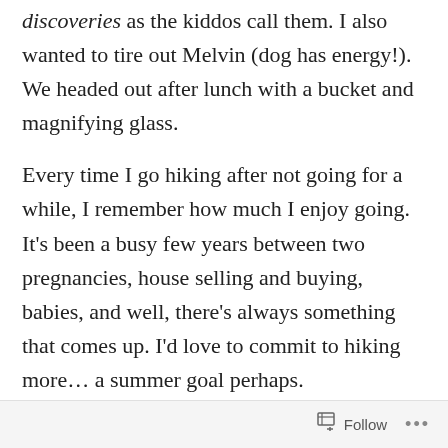discoveries as the kiddos call them. I also wanted to tire out Melvin (dog has energy!). We headed out after lunch with a bucket and magnifying glass.
Every time I go hiking after not going for a while, I remember how much I enjoy going. It's been a busy few years between two pregnancies, house selling and buying, babies, and well, there's always something that comes up. I'd love to commit to hiking more… a summer goal perhaps.
The kiddos and I had a great time. They're at a fun age where they talk non-stop and find everything interesting. They both found several discoveries they quickly packed in the bucket. And they pointed out several interesting things they saw: centipedes, slugs, fallen branches, silly
Follow •••